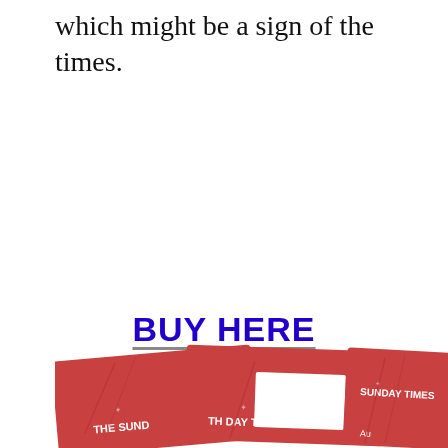which might be a sign of the times.
BUY HERE
[Figure (photo): Multiple copies of The Sunday Times newspaper/magazine with red covers fanned out, showing the masthead 'THE SUNDAY TIMES' on each copy.]